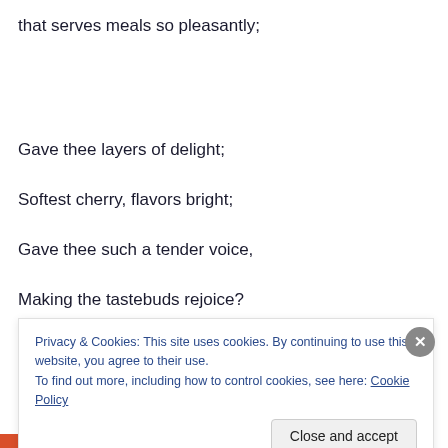that serves meals so pleasantly;
Gave thee layers of delight;
Softest cherry, flavors bright;
Gave thee such a tender voice,
Making the tastebuds rejoice?
Privacy & Cookies: This site uses cookies. By continuing to use this website, you agree to their use.
To find out more, including how to control cookies, see here: Cookie Policy